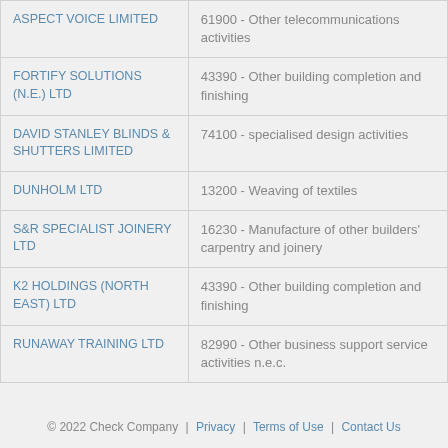| Company Name | SIC Code & Description |
| --- | --- |
| ASPECT VOICE LIMITED | 61900 - Other telecommunications activities |
| FORTIFY SOLUTIONS (N.E.) LTD | 43390 - Other building completion and finishing |
| DAVID STANLEY BLINDS & SHUTTERS LIMITED | 74100 - specialised design activities |
| DUNHOLM LTD | 13200 - Weaving of textiles |
| S&R SPECIALIST JOINERY LTD | 16230 - Manufacture of other builders' carpentry and joinery |
| K2 HOLDINGS (NORTH EAST) LTD | 43390 - Other building completion and finishing |
| RUNAWAY TRAINING LTD | 82990 - Other business support service activities n.e.c. |
© 2022 Check Company | Privacy | Terms of Use | Contact Us